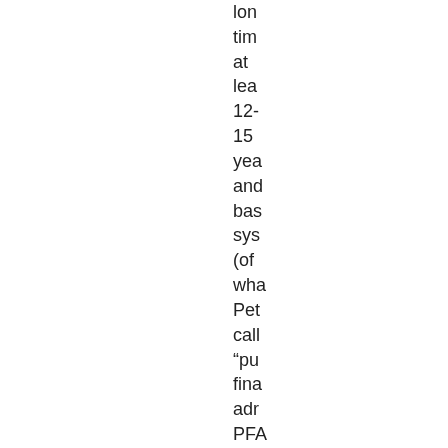lon tim at lea 12- 15 yea and bas sys (of wha Pet call “pu fina adr PFA mu be intr bef mo